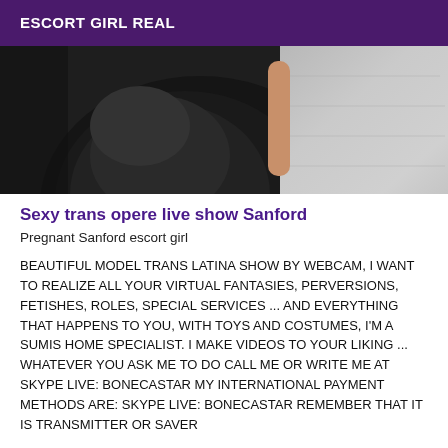ESCORT GIRL REAL
[Figure (photo): Photo of a person in dark clothing, partial view showing lower body and legs against a stone/pavement background]
Sexy trans opere live show Sanford
Pregnant Sanford escort girl
BEAUTIFUL MODEL TRANS LATINA SHOW BY WEBCAM, I WANT TO REALIZE ALL YOUR VIRTUAL FANTASIES, PERVERSIONS, FETISHES, ROLES, SPECIAL SERVICES ... AND EVERYTHING THAT HAPPENS TO YOU, WITH TOYS AND COSTUMES, I'M A SUMIS HOME SPECIALIST. I MAKE VIDEOS TO YOUR LIKING ... WHATEVER YOU ASK ME TO DO CALL ME OR WRITE ME AT SKYPE LIVE: BONECASTAR MY INTERNATIONAL PAYMENT METHODS ARE: SKYPE LIVE: BONECASTAR REMEMBER THAT IT IS TRANSMITTER OR SAVER